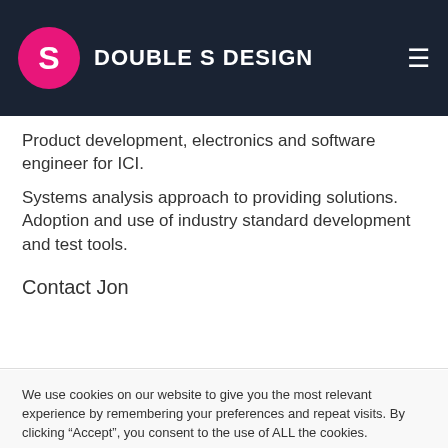DOUBLE S DESIGN
Specialising in bespoke SYS applications, consultation, dedicated servers from a medium scale websites.
Product development, electronics and software engineer for ICI.
Systems analysis approach to providing solutions.
Adoption and use of industry standard development and test tools.
Contact Jon
We use cookies on our website to give you the most relevant experience by remembering your preferences and repeat visits. By clicking “Accept”, you consent to the use of ALL the cookies.
Cookie settings    ACCEPT